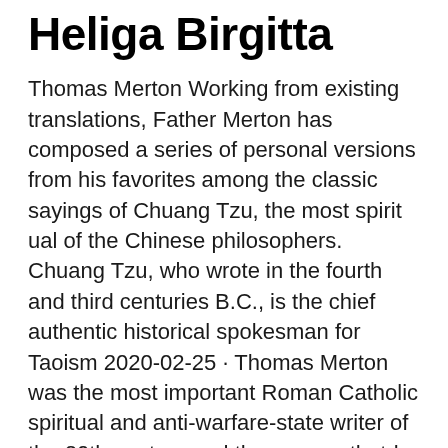Heliga Birgitta
Thomas Merton Working from existing translations, Father Merton has composed a series of personal versions from his favorites among the classic sayings of Chuang Tzu, the most spirit ual of the Chinese philosophers. Chuang Tzu, who wrote in the fourth and third centuries B.C., is the chief authentic historical spokesman for Taoism 2020-02-25 · Thomas Merton was the most important Roman Catholic spiritual and anti-warfare-state writer of the 20th century and the powers-that-be in the corporate world, in the military world, in the world of the CIA, FBI and NSA and in the world of government were as acutely aware of the power he possessed to undermine their bloody profit making schemes as they were of King and Kennedy's